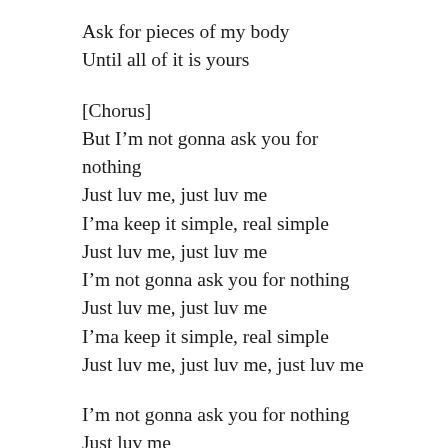Ask for pieces of my body
Until all of it is yours
[Chorus]
But I'm not gonna ask you for nothing
Just luv me, just luv me
I'ma keep it simple, real simple
Just luv me, just luv me
I'm not gonna ask you for nothing
Just luv me, just luv me
I'ma keep it simple, real simple
Just luv me, just luv me, just luv me
I'm not gonna ask you for nothing
Just luv me
I'm not gonna ask you for nothing